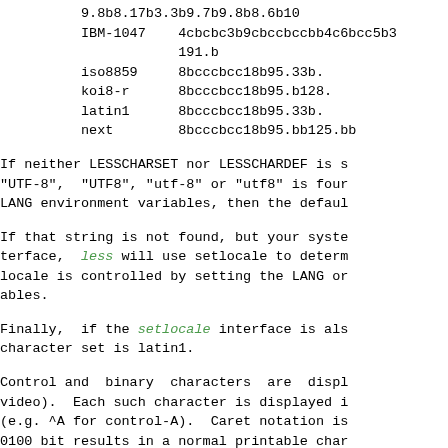9.8b8.17b3.3b9.7b9.8b8.6b10
          IBM-1047    4cbcbc3b9cbccbccbb4c6bcc5b3
                      191.b
          iso8859     8bcccbcc18b95.33b.
          koi8-r      8bcccbcc18b95.b128.
          latin1      8bcccbcc18b95.33b.
          next        8bcccbcc18b95.bb125.bb
If neither LESSCHARSET nor LESSCHARDEF is s
"UTF-8",  "UTF8", "utf-8" or "utf8" is four
LANG environment variables, then the defaul
If that string is not found, but your syste
terface,  less will use setlocale to determ
locale is controlled by setting the LANG or
ables.
Finally,  if the setlocale interface is als
character set is latin1.
Control and  binary  characters  are  displ
video).  Each such character is displayed i
(e.g. ^A for control-A).  Caret notation is
0100 bit results in a normal printable char
acter is displayed as a hex number in angle
be  changed by setting the LESSBINFMT envir
may begin with a "*" and one character to s
"*k" is  blinking, "*d" is bold, "*u" is u